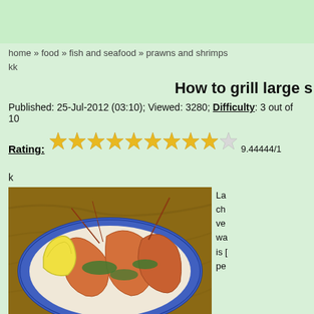home » food » fish and seafood » prawns and shrimps
kk
How to grill large s[hrimps]
Published: 25-Jul-2012 (03:10); Viewed: 3280; Difficulty: 3 out of 10
Rating: 9.44444/1[0] (star rating displayed)
k
[Figure (photo): Grilled large shrimps/prawns on a blue-rimmed plate with a lemon wedge and herbs]
La[rge shrimps] ch[oice] ve[ry] wa[rm] is [perfect] pe[rfect for]